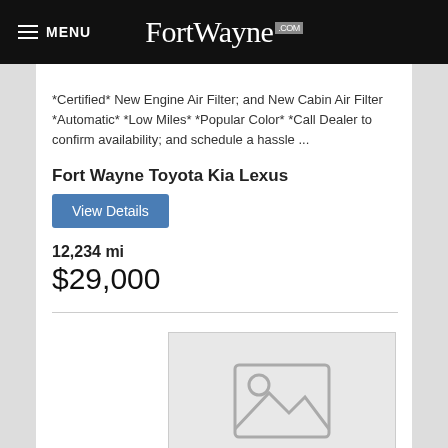FortWayne.com
*Certified* New Engine Air Filter; and New Cabin Air Filter *Automatic* *Low Miles* *Popular Color* *Call Dealer to confirm availability; and schedule a hassle ...
Fort Wayne Toyota Kia Lexus
View Details
12,234 mi
$29,000
[Figure (photo): Placeholder image for car listing showing a grey image placeholder icon]
2014